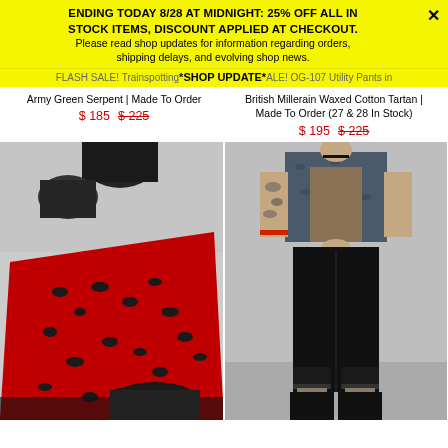ENDING TODAY 8/28 AT MIDNIGHT: 25% OFF ALL IN STOCK ITEMS, DISCOUNT APPLIED AT CHECKOUT. Please read shop updates for information regarding orders, shipping delays, and evolving shop news.
FLASH SALE! Trainspotting *SHOP UPDATE* ALE! OG-107 Utility Pants in Army Green Serpent | Made To Order
Army Green Serpent | Made To Order $ 185  $ 225
British Millerain Waxed Cotton Tartan | Made To Order (27 & 28 In Stock) $ 195  $ 225
[Figure (photo): Red leopard print pants worn by a person lying down with black boots visible, legs raised, gray background]
[Figure (photo): Person wearing black straight-leg pants and a denim vest, standing against a light gray wall, with tattoos visible on arms]